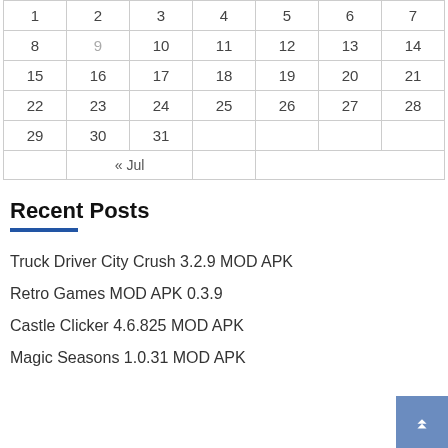| 1 | 2 | 3 | 4 | 5 | 6 | 7 |
| 8 | 9 | 10 | 11 | 12 | 13 | 14 |
| 15 | 16 | 17 | 18 | 19 | 20 | 21 |
| 22 | 23 | 24 | 25 | 26 | 27 | 28 |
| 29 | 30 | 31 |  |  |  |  |
|  | « Jul |  |  |  |  |  |
Recent Posts
Truck Driver City Crush 3.2.9 MOD APK
Retro Games MOD APK 0.3.9
Castle Clicker 4.6.825 MOD APK
Magic Seasons 1.0.31 MOD APK